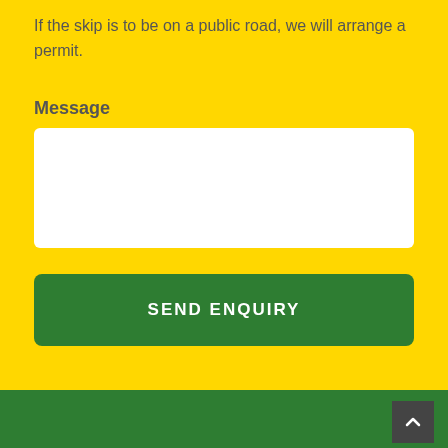If the skip is to be on a public road, we will arrange a permit.
Message
[Figure (other): Empty white text area / message input box]
[Figure (other): Green 'SEND ENQUIRY' button]
[Figure (other): Dark grey back-to-top arrow button in green footer]